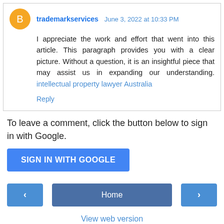trademarkservices June 3, 2022 at 10:33 PM
I appreciate the work and effort that went into this article. This paragraph provides you with a clear picture. Without a question, it is an insightful piece that may assist us in expanding our understanding. intellectual property lawyer Australia
Reply
To leave a comment, click the button below to sign in with Google.
SIGN IN WITH GOOGLE
‹
Home
›
View web version
Powered by Blogger.